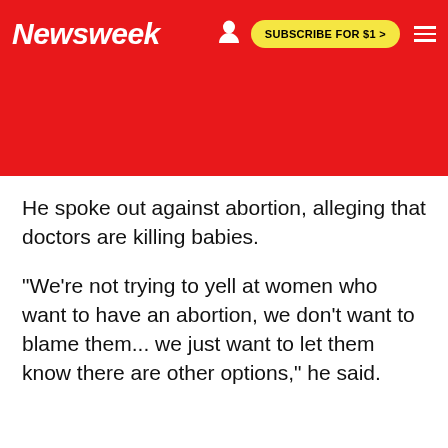Newsweek | SUBSCRIBE FOR $1 >
He spoke out against abortion, alleging that doctors are killing babies.
"We're not trying to yell at women who want to have an abortion, we don't want to blame them... we just want to let them know there are other options," he said.